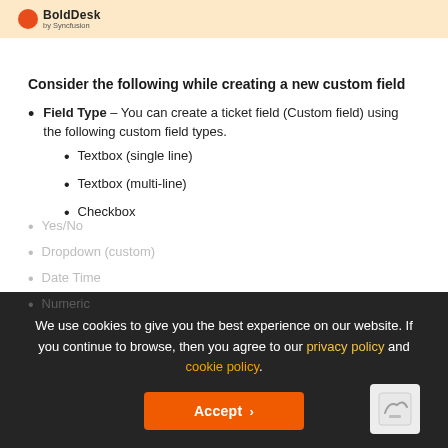BoldDesk by Syncfusion
Consider the following while creating a new custom field
Field Type – You can create a ticket field (Custom field) using the following custom field types.
Textbox (single line)
Textbox (multi-line)
Checkbox
Yes/No
Dropdown (custom)
Date Time
Numeric
We use cookies to give you the best experience on our website. If you continue to browse, then you agree to our privacy policy and cookie policy.